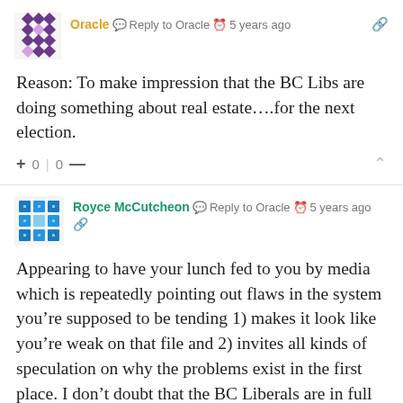[Figure (illustration): Purple/dark geometric pattern avatar icon for user Oracle]
Oracle  Reply to Oracle  5 years ago
Reason: To make impression that the BC Libs are doing something about real estate….for the next election.
+ 0 | 0 —
[Figure (illustration): Blue geometric pattern avatar icon for user Royce McCutcheon]
Royce McCutcheon  Reply to Oracle  5 years ago
Appearing to have your lunch fed to you by media which is repeatedly pointing out flaws in the system you're supposed to be tending 1) makes it look like you're weak on that file and 2) invites all kinds of speculation on why the problems exist in the first place. I don't doubt that the BC Liberals are in full